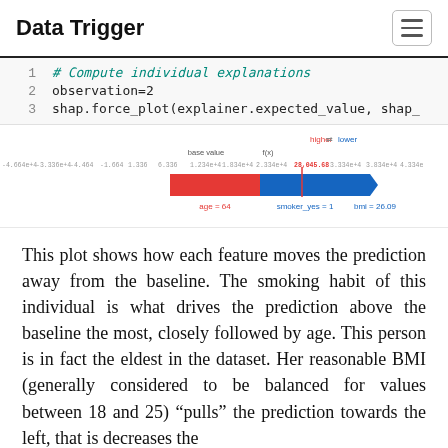Data Trigger
# Compute individual explanations
observation=2
shap.force_plot(explainer.expected_value, shap_
[Figure (infographic): SHAP force plot showing feature contributions for observation 2. A horizontal bar with red (negative) and blue (positive) regions. Labels show: age=64, smoker_yes=1, bmi=26.09. The prediction value shown is 28,045.68. Axis labels range from approximately -4.334e+4 to 4.334e+4.]
This plot shows how each feature moves the prediction away from the baseline. The smoking habit of this individual is what drives the prediction above the baseline the most, closely followed by age. This person is in fact the eldest in the dataset. Her reasonable BMI (generally considered to be balanced for values between 18 and 25) “pulls” the prediction towards the left, that is decreases the